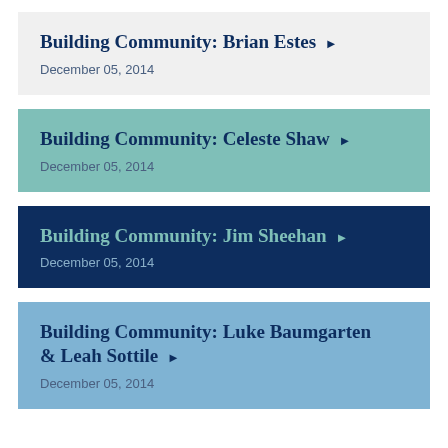Building Community: Brian Estes
December 05, 2014
Building Community: Celeste Shaw
December 05, 2014
Building Community: Jim Sheehan
December 05, 2014
Building Community: Luke Baumgarten & Leah Sottile
December 05, 2014